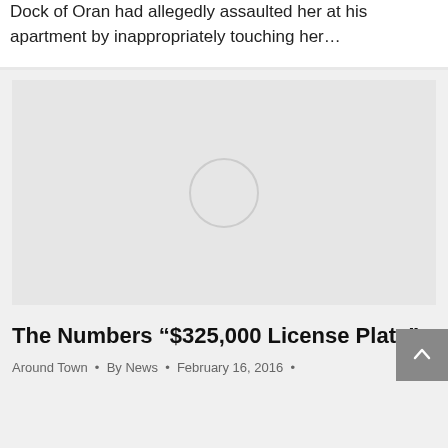Dock of Oran had allegedly assaulted her at his apartment by inappropriately touching her…
[Figure (photo): Gray placeholder image with a light circle in the center, representing a loading or missing image thumbnail]
The Numbers “$325,000 License Plate”
Around Town • By News • February 16, 2016 •